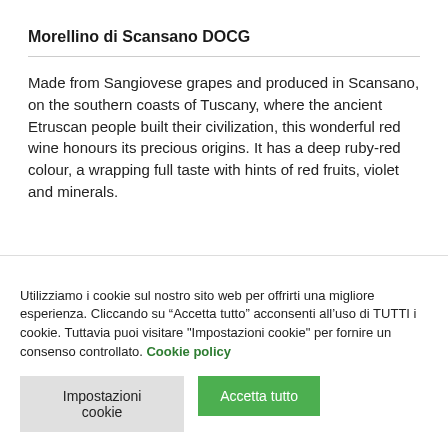Morellino di Scansano DOCG
Made from Sangiovese grapes and produced in Scansano, on the southern coasts of Tuscany, where the ancient Etruscan people built their civilization, this wonderful red wine honours its precious origins. It has a deep ruby-red colour, a wrapping full taste with hints of red fruits, violet and minerals.
Utilizziamo i cookie sul nostro sito web per offrirti una migliore esperienza. Cliccando su “Accetta tutto” acconsenti all’uso di TUTTI i cookie. Tuttavia puoi visitare "Impostazioni cookie" per fornire un consenso controllato. Cookie policy
Impostazioni cookie
Accetta tutto